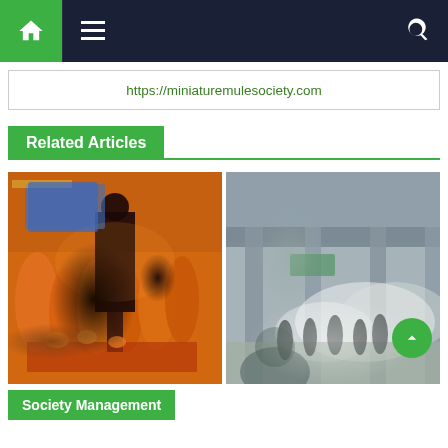Navigation bar with home, menu, and search icons
https://miniaturemulesociety.com
Related Articles
[Figure (photo): People in orange robes seated at a religious gathering with a speaker in dark clothing at a podium]
[Figure (photo): Street protest scene with smoke/tear gas and people in a hazy urban environment]
Society Management